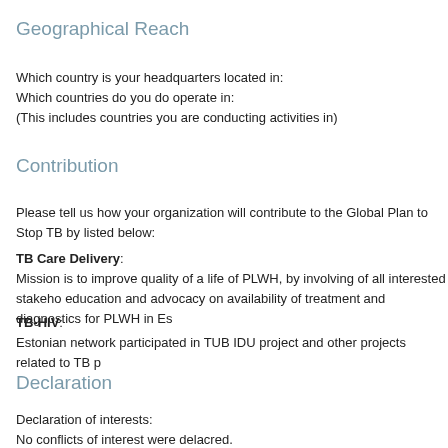Geographical Reach
Which country is your headquarters located in:
Which countries do you do operate in:
(This includes countries you are conducting activities in)
Contribution
Please tell us how your organization will contribute to the Global Plan to Stop TB by listed below:
TB Care Delivery:
Mission is to improve quality of a life of PLWH, by involving of all interested stakeho education and advocacy on availability of treatment and diagnostics for PLWH in Es
TB-HIV:
Estonian network participated in TUB IDU project and other projects related to TB p
Declaration
Declaration of interests:
No conflicts of interest were delacred.